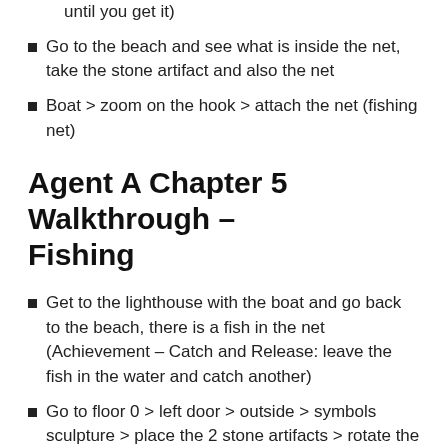until you get it)
Go to the beach and see what is inside the net, take the stone artifact and also the net
Boat > zoom on the hook > attach the net (fishing net)
Agent A Chapter 5 Walkthrough – Fishing
Get to the lighthouse with the boat and go back to the beach, there is a fish in the net (Achievement – Catch and Release: leave the fish in the water and catch another)
Go to floor 0 > left door > outside > symbols sculpture > place the 2 stone artifacts > rotate the symbols and find the number code based on the lighthouse keeper's journal